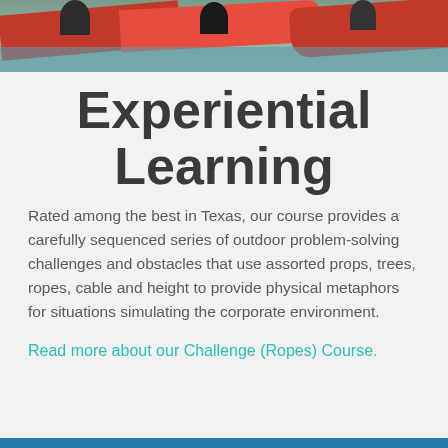[Figure (photo): Overhead photo of people in red/orange kayaks or canoes on water]
Experiential Learning
Rated among the best in Texas, our course provides a carefully sequenced series of outdoor problem-solving challenges and obstacles that use assorted props, trees, ropes, cable and height to provide physical metaphors for situations simulating the corporate environment.
Read more about our Challenge (Ropes) Course.